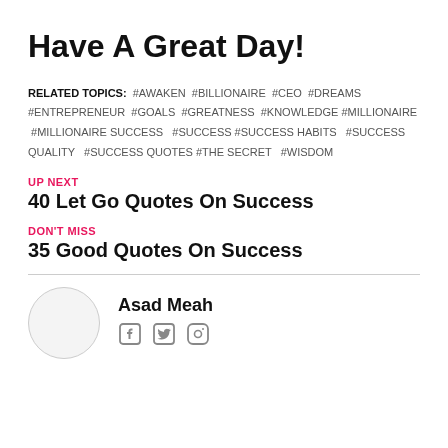Have A Great Day!
RELATED TOPICS: #AWAKEN #BILLIONAIRE #CEO #DREAMS #ENTREPRENEUR #GOALS #GREATNESS #KNOWLEDGE #MILLIONAIRE #MILLIONAIRE SUCCESS #SUCCESS #SUCCESS HABITS #SUCCESS QUALITY #SUCCESS QUOTES #THE SECRET #WISDOM
UP NEXT
40 Let Go Quotes On Success
DON'T MISS
35 Good Quotes On Success
Asad Meah